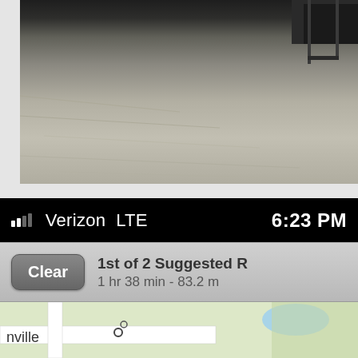[Figure (photo): Photo of a dirt/gravel ground surface with dark furniture or equipment visible in the upper right corner. The ground shows dry soil with grass or straw texture.]
[Figure (screenshot): iPhone status bar showing signal bars, Verizon LTE carrier, and time 6:23 PM on black background.]
...  Verizon  LTE        6:23 PM
[Figure (screenshot): iOS Maps navigation bar with a Clear button on the left and route info reading '1st of 2 Suggested R' and '1 hr 38 min - 83.2 m' on the right.]
Clear
1st of 2 Suggested R
1 hr 38 min - 83.2 m
[Figure (map): Partial Apple Maps view showing a green terrain map with roads, a body of water (blue), and a location label partially reading 'nville' with a circle marker.]